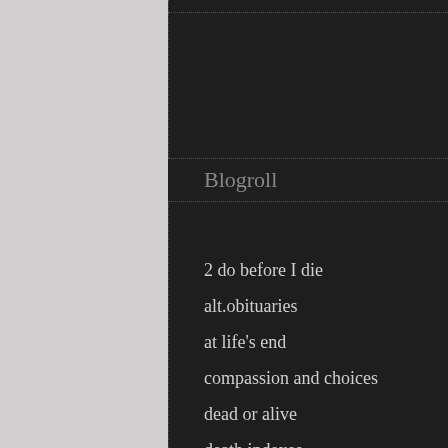Blogroll
2 do before I die
alt.obituaries
at life's end
compassion and choices
dead or alive
death indexes
death lore
deaths in 2013
definitive guide to choosing a headstone
definitive guide to funeral flowers
famous dead
final salute
find a grave